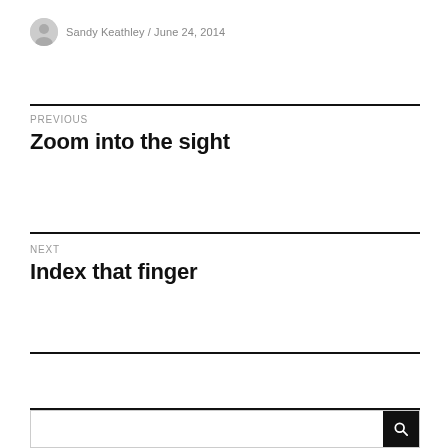Sandy Keathley / June 24, 2014
PREVIOUS
Zoom into the sight
NEXT
Index that finger